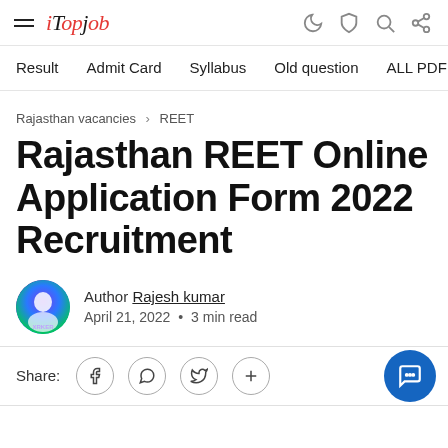iTopjob — Result | Admit Card | Syllabus | Old question | ALL PDF | Freedom
Rajasthan vacancies › REET
Rajasthan REET Online Application Form 2022 Recruitment
Author Rajesh kumar
April 21, 2022 • 3 min read
Share: